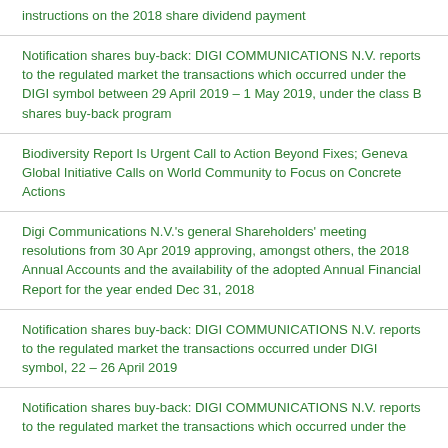instructions on the 2018 share dividend payment
Notification shares buy-back: DIGI COMMUNICATIONS N.V. reports to the regulated market the transactions which occurred under the DIGI symbol between 29 April 2019 – 1 May 2019, under the class B shares buy-back program
Biodiversity Report Is Urgent Call to Action Beyond Fixes; Geneva Global Initiative Calls on World Community to Focus on Concrete Actions
Digi Communications N.V.'s general Shareholders' meeting resolutions from 30 Apr 2019 approving, amongst others, the 2018 Annual Accounts and the availability of the adopted Annual Financial Report for the year ended Dec 31, 2018
Notification shares buy-back: DIGI COMMUNICATIONS N.V. reports to the regulated market the transactions occurred under DIGI symbol, 22 – 26 April 2019
Notification shares buy-back: DIGI COMMUNICATIONS N.V. reports to the regulated market the transactions which occurred under the